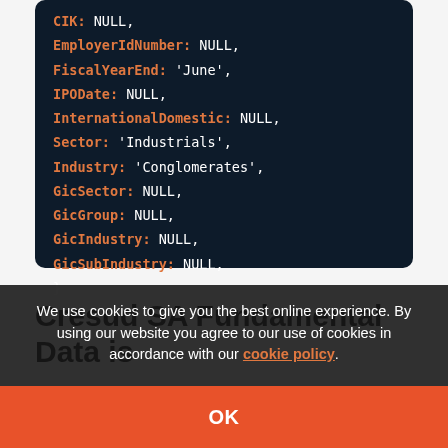CIK: NULL,
EmployerIdNumber: NULL,
FiscalYearEnd: 'June',
IPODate: NULL,
InternationalDomestic: NULL,
Sector: 'Industrials',
Industry: 'Conglomerates',
GicSector: NULL,
GicGroup: NULL,
GicIndustry: NULL,
GicSubIndustry: NULL,
}
Cresud SA Fundamental Data is
We use cookies to give you the best online experience. By using our website you agree to our use of cookies in accordance with our cookie policy.
OK